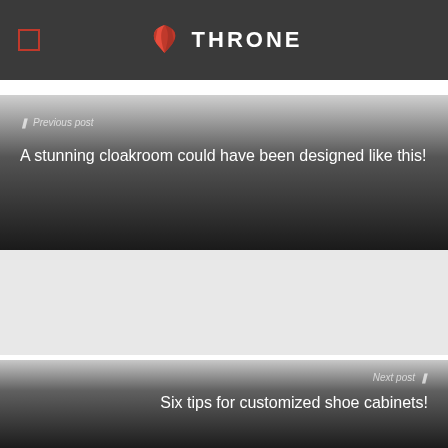THRONE
Previous post
A stunning cloakroom could have been designed like this!
Next post
Six tips for customized shoe cabinets!